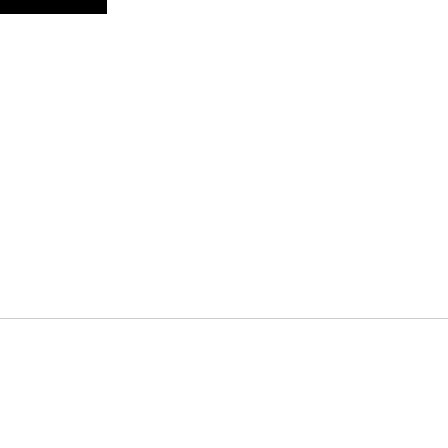[Figure (other): Black rectangle header element at top left]
[Figure (screenshot): Advertisement banner at bottom of page. Shows tabs for 'Antique Earrings' and 'Antique Pendant' on black background with gold jewelry image on right. White section with 'Search for Pearl Stud Earrings' text and a dark 'See It >' button. Close X button on far right.]